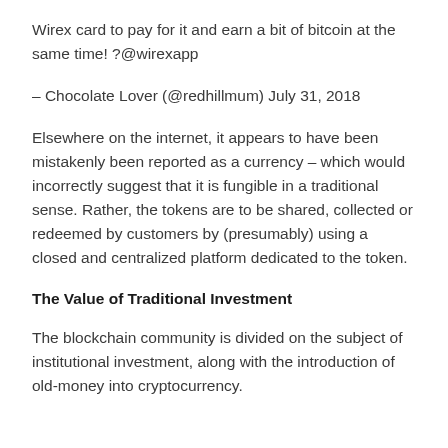Wirex card to pay for it and earn a bit of bitcoin at the same time! ?@wirexapp
— Chocolate Lover (@redhillmum) July 31, 2018
Elsewhere on the internet, it appears to have been mistakenly been reported as a currency – which would incorrectly suggest that it is fungible in a traditional sense. Rather, the tokens are to be shared, collected or redeemed by customers by (presumably) using a closed and centralized platform dedicated to the token.
The Value of Traditional Investment
The blockchain community is divided on the subject of institutional investment, along with the introduction of old-money into cryptocurrency.